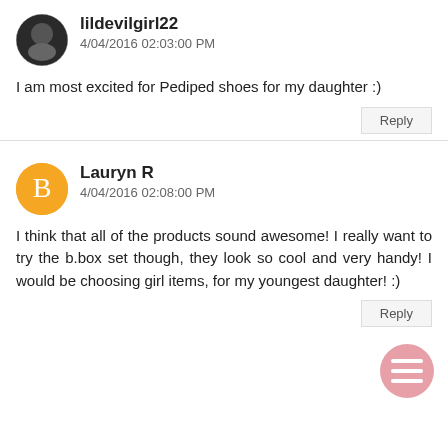lildevilgirl22
4/04/2016 02:03:00 PM
I am most excited for Pediped shoes for my daughter :)
Reply
Lauryn R
4/04/2016 02:08:00 PM
I think that all of the products sound awesome! I really want to try the b.box set though, they look so cool and very handy! I would be choosing girl items, for my youngest daughter! :)
Reply